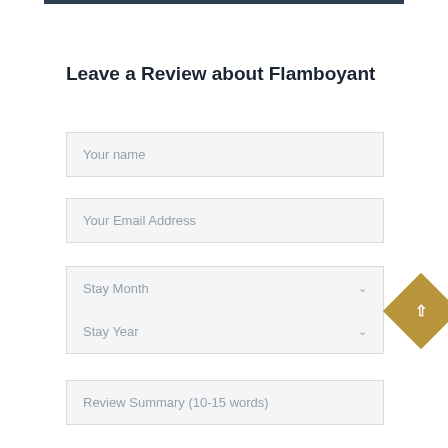Leave a Review about Flamboyant
Your name
Your Email Address
Stay Month
Stay Year
Review Summary (10-15 words)